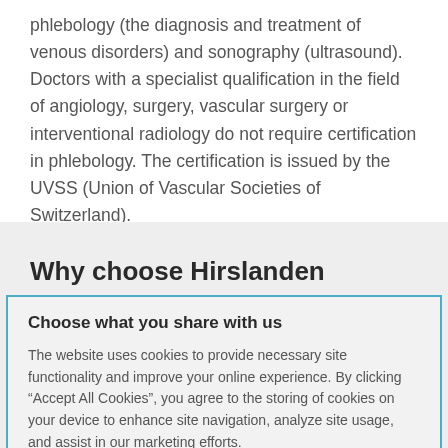phlebology (the diagnosis and treatment of venous disorders) and sonography (ultrasound). Doctors with a specialist qualification in the field of angiology, surgery, vascular surgery or interventional radiology do not require certification in phlebology. The certification is issued by the UVSS (Union of Vascular Societies of Switzerland).
Why choose Hirslanden
Choose what you share with us
The website uses cookies to provide necessary site functionality and improve your online experience. By clicking “Accept All Cookies”, you agree to the storing of cookies on your device to enhance site navigation, analyze site usage, and assist in our marketing efforts.